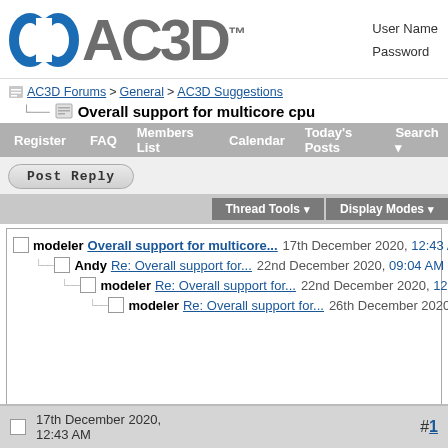[Figure (logo): AC3D software logo with blue icon and gray AC3D text with TM mark]
User Name
Password
AC3D Forums > General > AC3D Suggestions
Overall support for multicore cpu
Register   FAQ   Members List   Calendar   Today's Posts   Search
Post Reply
Thread Tools   Display Modes
modeler Overall support for multicore... 17th December 2020, 12:43 AM
Andy Re: Overall support for... 22nd December 2020, 09:04 AM
modeler Re: Overall support for... 22nd December 2020, 12:08 PM
modeler Re: Overall support for... 26th December 2020, 11:48 AM
17th December 2020, 12:43 AM
#1